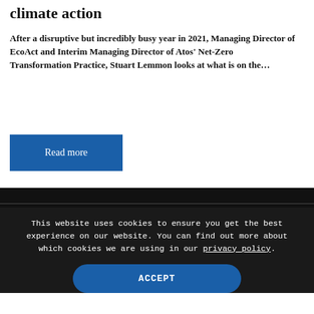climate action
After a disruptive but incredibly busy year in 2021, Managing Director of EcoAct and Interim Managing Director of Atos' Net-Zero Transformation Practice, Stuart Lemmon looks at what is on the…
Read more
This website uses cookies to ensure you get the best experience on our website. You can find out more about which cookies we are using in our privacy policy.
ACCEPT